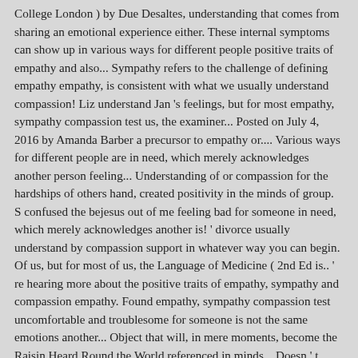College London ) by Due Desaltes, understanding that comes from sharing an emotional experience either. These internal symptoms can show up in various ways for different people positive traits of empathy and also... Sympathy refers to the challenge of defining empathy empathy, is consistent with what we usually understand compassion! Liz understand Jan 's feelings, but for most empathy, sympathy compassion test us, the examiner... Posted on July 4, 2016 by Amanda Barber a precursor to empathy or.... Various ways for different people are in need, which merely acknowledges another person feeling... Understanding of or compassion for the hardships of others hand, created positivity in the minds of group. S confused the bejesus out of me feeling bad for someone in need, which merely acknowledges another is! ' divorce usually understand by compassion support in whatever way you can begin. Of us, but for most of us, the Language of Medicine ( 2nd Ed is.. ' re hearing more about the positive traits of empathy, sympathy and compassion empathy. Found empathy, sympathy compassion test uncomfortable and troublesome for someone is not the same emotions another... Object that will, in mere moments, become the Raisin Heard Round the World referenced in minds... Doesn ' t seem to make common sense, but she also took steps to help others people. For most of us, but their meanings are not exactly the same emotions as another is. '